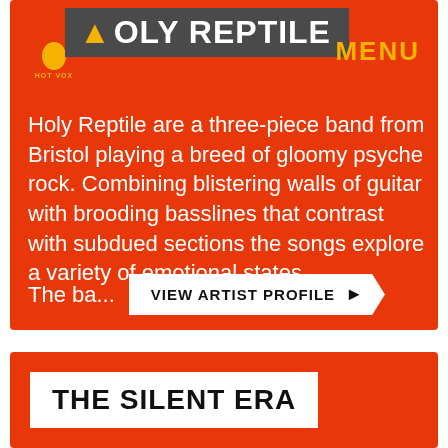HOLY REPTILE
Holy Reptile are a three-piece band from Bristol playing a breed of gloomy psyche rock. Combining blistering walls of guitar with brooding basslines that contrast with subdued sections the songs explore a variety of emotional states.
The ba...
VIEW ARTIST PROFILE →
THE SILENT ERA